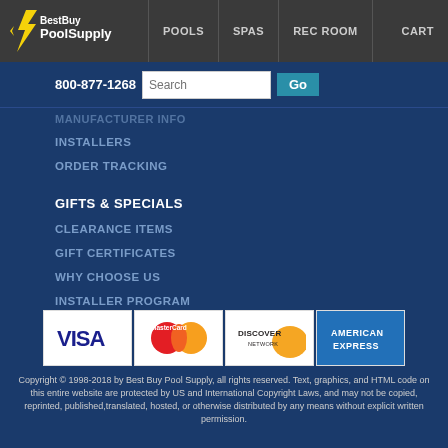BestBuy PoolSupply | POOLS | SPAS | REC ROOM | CART
800-877-1268 | Search | Go
MANUFACTURER INFO
INSTALLERS
ORDER TRACKING
GIFTS & SPECIALS
CLEARANCE ITEMS
GIFT CERTIFICATES
WHY CHOOSE US
INSTALLER PROGRAM
[Figure (logo): Payment method logos: Visa, MasterCard, Discover Network, American Express]
Copyright © 1998-2018 by Best Buy Pool Supply, all rights reserved. Text, graphics, and HTML code on this entire website are protected by US and International Copyright Laws, and may not be copied, reprinted, published,translated, hosted, or otherwise distributed by any means without explicit written permission.